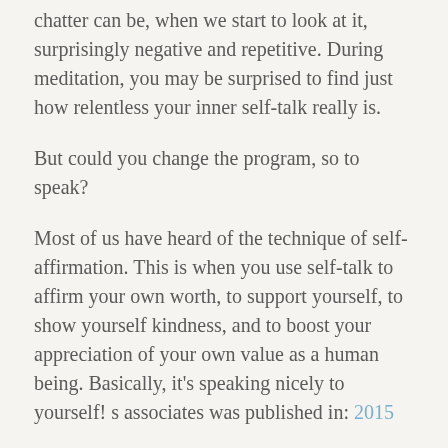chatter can be, when we start to look at it, surprisingly negative and repetitive. During meditation, you may be surprised to find just how relentless your inner self-talk really is.
But could you change the program, so to speak?
Most of us have heard of the technique of self-affirmation. This is when you use self-talk to affirm your own worth, to support yourself, to show yourself kindness, and to boost your appreciation of your own value as a human being. Basically, it's speaking nicely to yourself! s associates was published in: 2015
They set up a study of 67 participants, who